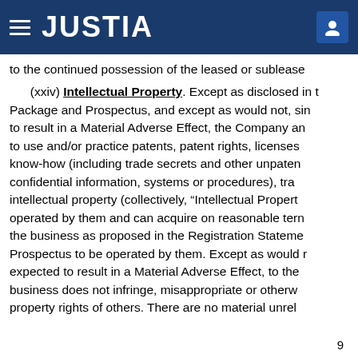JUSTIA
to the continued possession of the leased or sublease
(xxiv) Intellectual Property. Except as disclosed in the Package and Prospectus, and except as would not, sin to result in a Material Adverse Effect, the Company an to use and/or practice patents, patent rights, licenses know-how (including trade secrets and other unpaten confidential information, systems or procedures), tra intellectual property (collectively, “Intellectual Propert operated by them and can acquire on reasonable tern the business as proposed in the Registration Stateme Prospectus to be operated by them. Except as would r expected to result in a Material Adverse Effect, to the business does not infringe, misappropriate or otherw property rights of others. There are no material unrel
9